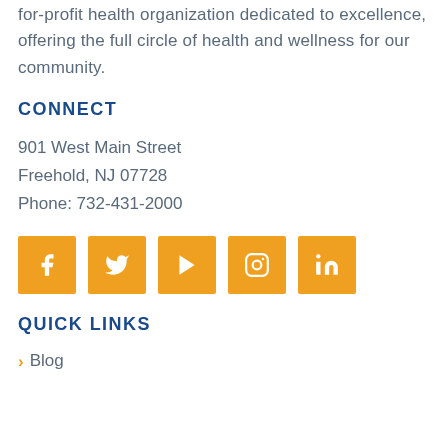for-profit health organization dedicated to excellence, offering the full circle of health and wellness for our community.
CONNECT
901 West Main Street
Freehold, NJ 07728
Phone: 732-431-2000
[Figure (infographic): Five orange square social media icons: Facebook, Twitter, YouTube, Instagram, LinkedIn]
QUICK LINKS
Blog